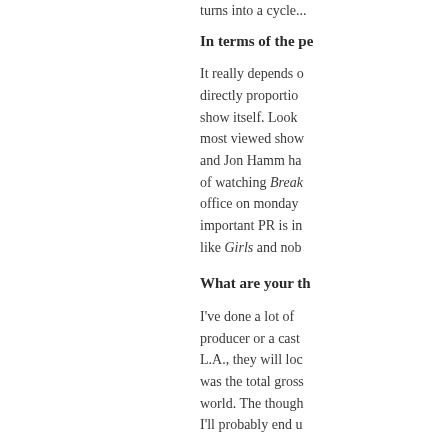turns into a cycle...
In terms of the pe...
It really depends on... directly proportion... show itself. Look... most viewed show... and Jon Hamm ha... of watching Break... office on monday... important PR is in... like Girls and nob...
What are your th...
I've done a lot of... producer or a cast... L.A., they will loc... was the total gross... world. The though... I'll probably end...